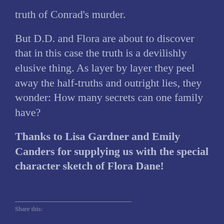truth of Conrad's murder.
But D.D. and Flora are about to discover that in this case the truth is a devilishly elusive thing. As layer by layer they peel away the half-truths and outright lies, they wonder: How many secrets can one family have?
Thanks to Lisa Gardner and Emily Canders for supplying us with the special character sketch of Flora Dane!
Share this: